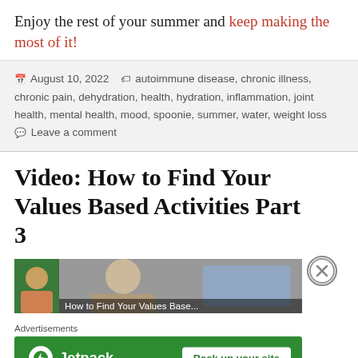Enjoy the rest of your summer and keep making the most of it!
August 10, 2022  autoimmune disease, chronic illness, chronic pain, dehydration, health, hydration, inflammation, joint health, mental health, mood, spoonie, summer, water, weight loss  Leave a comment
Video: How to Find Your Values Based Activities Part 3
[Figure (screenshot): Video thumbnail showing a person with text overlay 'How to Find Your Values Base...' and a close button]
[Figure (infographic): Jetpack advertisement banner with logo and 'Back up your site' button on a green background]
Advertisements